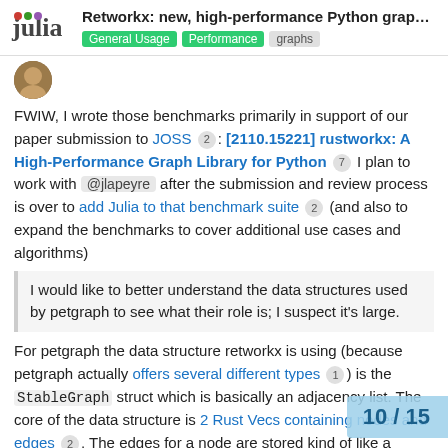Retworkx: new, high-performance Python grap... | General Usage | Performance | graphs
FWIW, I wrote those benchmarks primarily in support of our paper submission to JOSS 2 : [2110.15221] rustworkx: A High-Performance Graph Library for Python 7 I plan to work with @jlapeyre after the submission and review process is over to add Julia to that benchmark suite 2 (and also to expand the benchmarks to cover additional use cases and algorithms)
I would like to better understand the data structures used by petgraph to see what their role is; I suspect it's large.
For petgraph the data structure retworkx is using (because petgraph actually offers several different types 1 ) is the StableGraph struct which is basically an adjacency list. The core of the data structure is 2 Rust Vecs containing nodes and edges 2 . The edges for a node are stored kind of like a linked list of edge indices with the first edge inde... Node struct 2 and then each edge struct s...